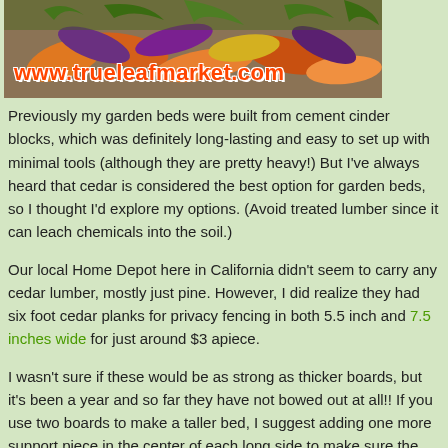[Figure (photo): Colorful carrots photo with www.trueleafmarket.com URL overlay in orange-red text]
Previously my garden beds were built from cement cinder blocks, which was definitely long-lasting and easy to set up with minimal tools (although they are pretty heavy!) But I've always heard that cedar is considered the best option for garden beds, so I thought I'd explore my options. (Avoid treated lumber since it can leach chemicals into the soil.)
Our local Home Depot here in California didn't seem to carry any cedar lumber, mostly just pine. However, I did realize they had six foot cedar planks for privacy fencing in both 5.5 inch and 7.5 inches wide for just around $3 apiece.
I wasn't sure if these would be as strong as thicker boards, but it's been a year and so far they have not bowed out at all!! If you use two boards to make a taller bed, I suggest adding one more support piece in the center of each long side to make sure the